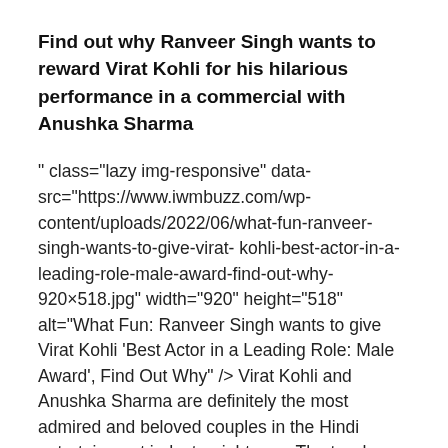Find out why Ranveer Singh wants to reward Virat Kohli for his hilarious performance in a commercial with Anushka Sharma
" class="lazy img-responsive" data-src="https://www.iwmbuzz.com/wp-content/uploads/2022/06/what-fun-ranveer-singh-wants-to-give-virat- kohli-best-actor-in-a-leading-role-male-award-find-out-why-920×518.jpg" width="920" height="518" alt="What Fun: Ranveer Singh wants to give Virat Kohli 'Best Actor in a Leading Role: Male Award', Find Out Why" /> Virat Kohli and Anushka Sharma are definitely the most admired and beloved couples in the Hindi entertainment industry right now. The two have been in love with each other for many years and given the kind of love, adulation and admiration they have from people around the world, we can definitely say that they have successfully played a big role in getting the best out of each other. Whether it's